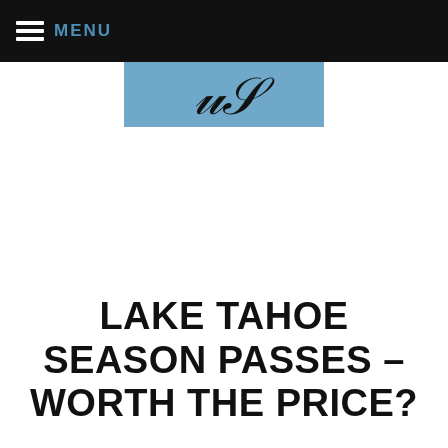MENU
[Figure (logo): Blue rectangle logo with cursive script text partially visible]
LAKE TAHOE SEASON PASSES – WORTH THE PRICE?